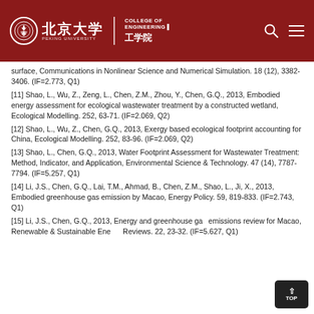北京大学 COLLEGE OF ENGINEERING 工学院
[10] surface, Communications in Nonlinear Science and Numerical Simulation. 18 (12), 3382-3406. (IF=2.773, Q1)
[11] Shao, L., Wu, Z., Zeng, L., Chen, Z.M., Zhou, Y., Chen, G.Q., 2013, Embodied energy assessment for ecological wastewater treatment by a constructed wetland, Ecological Modelling. 252, 63-71. (IF=2.069, Q2)
[12] Shao, L., Wu, Z., Chen, G.Q., 2013, Exergy based ecological footprint accounting for China, Ecological Modelling. 252, 83-96. (IF=2.069, Q2)
[13] Shao, L., Chen, G.Q., 2013, Water Footprint Assessment for Wastewater Treatment: Method, Indicator, and Application, Environmental Science & Technology. 47 (14), 7787-7794. (IF=5.257, Q1)
[14] Li, J.S., Chen, G.Q., Lai, T.M., Ahmad, B., Chen, Z.M., Shao, L., Ji, X., 2013, Embodied greenhouse gas emission by Macao, Energy Policy. 59, 819-833. (IF=2.743, Q1)
[15] Li, J.S., Chen, G.Q., 2013, Energy and greenhouse gas emissions review for Macao, Renewable & Sustainable Energy Reviews. 22, 23-32. (IF=5.627, Q1)